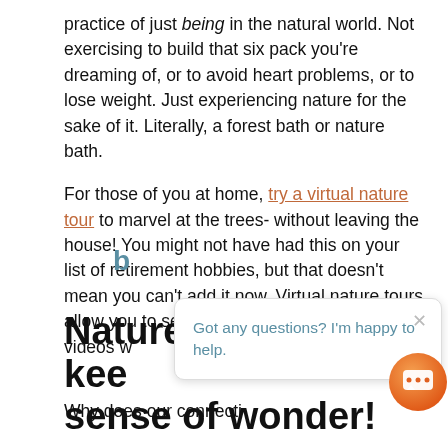practice of just being in the natural world. Not exercising to build that six pack you're dreaming of, or to avoid heart problems, or to lose weight. Just experiencing nature for the sake of it. Literally, a forest bath or nature bath.
For those of you at home, try a virtual nature tour to marvel at the trees- without leaving the house! You might not have had this on your list of retirement hobbies, but that doesn't mean you can't add it now. Virtual nature tours allow you to see all the beauty through nature videos w[ithout] logistical hassles of ge[tting there].
Why does our connectio[n to nature matter?]
Nature allows us to keep a sense of wonder!
[Figure (screenshot): Chat popup overlay with 'b' logo icon, close X button, and message 'Got any questions? I'm happy to help.' Also an orange circular chat button in bottom right.]